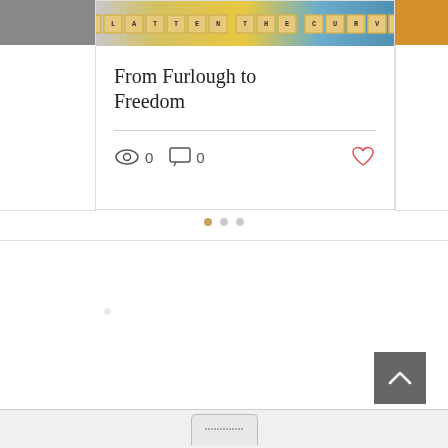[Figure (screenshot): Blog post card with scrabble tile image reading FLATTEN THE CURVE, title text, view and comment counts, and heart icon]
From Furlough to Freedom
0  0
[Figure (other): Carousel dots navigation: one active orange/tan dot and two inactive grey dots]
[Figure (other): Back to top button - dark grey square with upward chevron arrow]